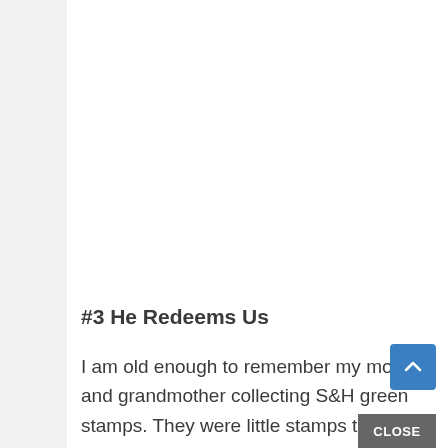[Figure (other): Large light gray image placeholder rectangle]
#3 He Redeems Us
I am old enough to remember my mother and grandmother collecting S&H green stamps. They were little stamps that you would put in